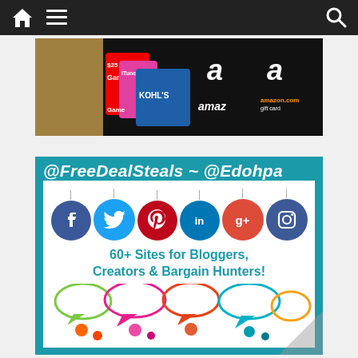Navigation bar with home, menu, and search icons
[Figure (photo): Banner image showing various gift cards including GameStop, iTunes, Kohl's, and Amazon gift cards on a dark background]
[Figure (infographic): Teal/cyan bordered promotional image with text '@FreeDealSteals ~ @Edohpa' at top, six social media icons (Facebook, Twitter, Pinterest, LinkedIn, Google+, Instagram) hanging like tags, text '60+ Sites for Bloggers, Creators & Bargain Hunters!' and colorful chat bubble icons at bottom]